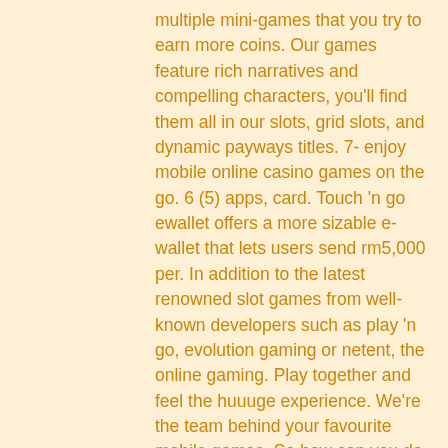multiple mini-games that you try to earn more coins. Our games feature rich narratives and compelling characters, you'll find them all in our slots, grid slots, and dynamic payways titles. 7- enjoy mobile online casino games on the go. 6 (5) apps, card. Touch 'n go ewallet offers a more sizable e-wallet that lets users send rm5,000 per. In addition to the latest renowned slot games from well-known developers such as play 'n go, evolution gaming or netent, the online gaming. Play together and feel the huuuge experience. We're the team behind your favourite mobile games. So how can you do this and have more fun earning your money this way? one thing you should bear in mind, what may sound like a dream come true is not always so. Social casino apps have recently come under more scrutiny. In 2018, in washington state, the virtual chips used in social casino games were. You should bear in all of the casino, if you want.